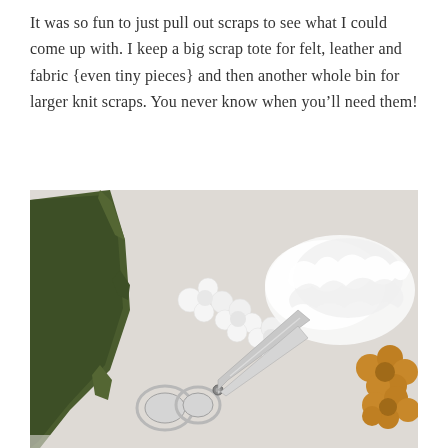It was so fun to just pull out scraps to see what I could come up with. I keep a big scrap tote for felt, leather and fabric {even tiny pieces} and then another whole bin for larger knit scraps. You never know when you'll need them!
[Figure (photo): Overhead photo on a white surface showing scissors, cut white felt flower shapes lined up, a pile of white ruffled felt, green felt fabric scrap on the left, and mustard/orange felt flower pieces on the right.]